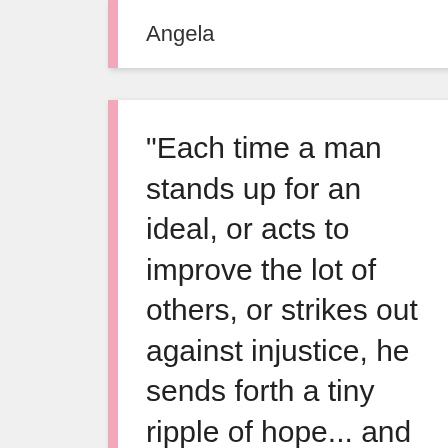Angela
“Each time a man stands up for an ideal, or acts to improve the lot of others, or strikes out against injustice, he sends forth a tiny ripple of hope... and crossing each other from a